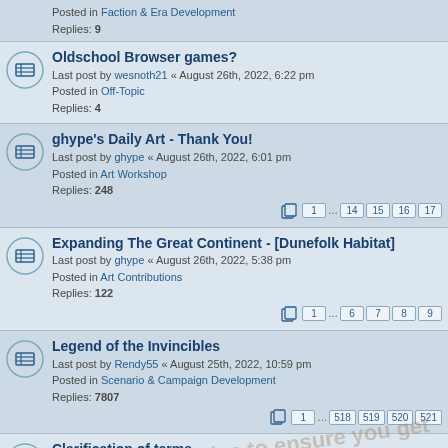Posted in Faction & Era Development
Replies: 9
Oldschool Browser games?
Last post by wesnoth21 « August 26th, 2022, 6:22 pm
Posted in Off-Topic
Replies: 4
ghype's Daily Art - Thank You!
Last post by ghype « August 26th, 2022, 6:01 pm
Posted in Art Workshop
Replies: 248
Pages: 1 ... 14 15 16 17
Expanding The Great Continent - [Dunefolk Habitat]
Last post by ghype « August 26th, 2022, 5:38 pm
Posted in Art Contributions
Replies: 122
Pages: 1 ... 6 7 8 9
Legend of the Invincibles
Last post by Rendy55 « August 25th, 2022, 10:59 pm
Posted in Scenario & Campaign Development
Replies: 7807
Pages: 1 ... 518 519 520 521
Clarification of terms
Last post by demario « August 25th, 2022, 9:47 am
Posted in Translations & Internationalization
Replies: 40
Pages: 1 2 3
Can't build master branch with cmake
Last post by Pentarctagon « August 25th, 2022, 2:12 am
Posted in Technical Support
Replies: 9
Experiment in loading past eras/campaigns in cores